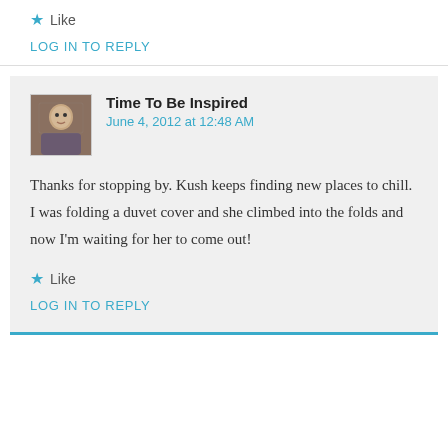★ Like
LOG IN TO REPLY
Time To Be Inspired
June 4, 2012 at 12:48 AM

Thanks for stopping by. Kush keeps finding new places to chill. I was folding a duvet cover and she climbed into the folds and now I'm waiting for her to come out!

★ Like

LOG IN TO REPLY